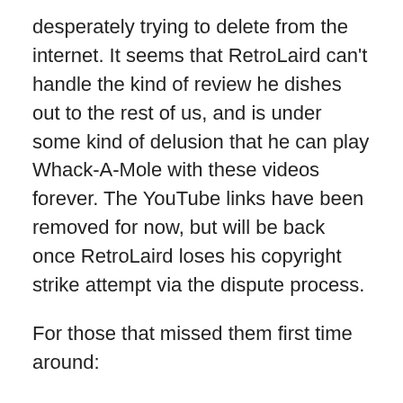desperately trying to delete from the internet. It seems that RetroLaird can't handle the kind of review he dishes out to the rest of us, and is under some kind of delusion that he can play Whack-A-Mole with these videos forever. The YouTube links have been removed for now, but will be back once RetroLaird loses his copyright strike attempt via the dispute process.
For those that missed them first time around:
RetroLaird reviewing his own book (11:32) on DailyMotion. Updated and more detailed book review (15:09) on DailyMotion.
Galahad uploaded the updated book review on YouTube with an additional intro message stating that RetroLaird was abusing the DMCA takedown process and risked losing his channel if he struck the video. Kieran ignored